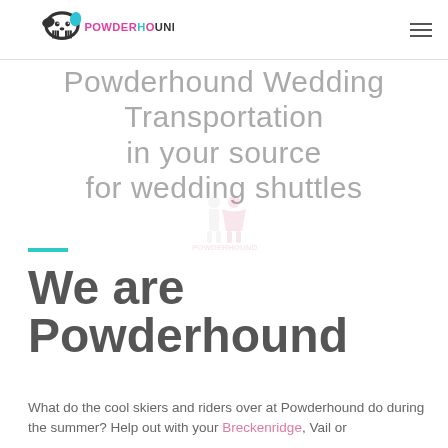Powderhound logo and navigation
Powderhound Wedding Transportation in your source for wedding shuttles
[Figure (logo): Faint Powderhound watermark logo with dog silhouettes]
We are Powderhound
What do the cool skiers and riders over at Powderhound do during the summer? Help out with your Breckenridge, Vail or...